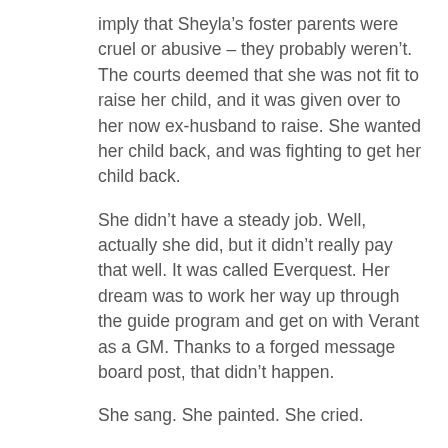imply that Sheyla’s foster parents were cruel or abusive – they probably weren’t. The courts deemed that she was not fit to raise her child, and it was given over to her now ex-husband to raise. She wanted her child back, and was fighting to get her child back.
She didn’t have a steady job. Well, actually she did, but it didn’t really pay that well. It was called Everquest. Her dream was to work her way up through the guide program and get on with Verant as a GM. Thanks to a forged message board post, that didn’t happen.
She sang. She painted. She cried.
She was very attractive, and probably found herself very ugly when she looked at herself in the mirror.
She had friends, and people who said they loved her, and people who say they will miss her. She had enemies, and once they threw her past back into her face in public. And at times people must have accused her of